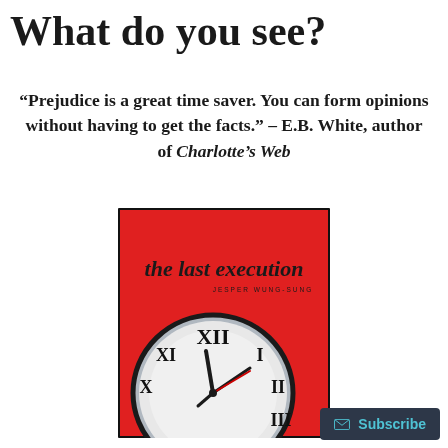What do you see?
“Prejudice is a great time saver. You can form opinions without having to get the facts.” – E.B. White, author of Charlotte’s Web
[Figure (illustration): Book cover of 'the last execution' by Jesper Wung-Sung, featuring a red background with a large clock face showing roman numerals, clock hands near XII position]
Subscribe